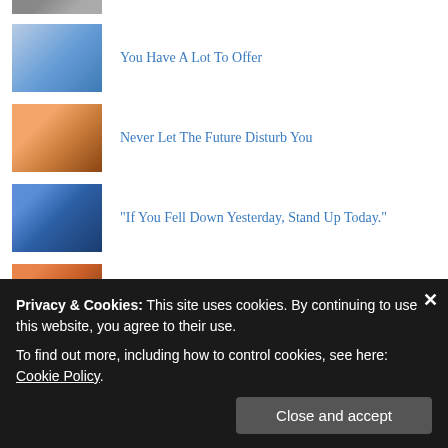[Figure (photo): Small thumbnail image at top, partially cropped]
You Have A Lot To Offer
Never Let The Future Disturb You
"If You Fell Down Yesterday, Stand Up Today."
Why Are You Still There?
We Have To Dare To Be Ourselves
Privacy & Cookies: This site uses cookies. By continuing to use this website, you agree to their use.
To find out more, including how to control cookies, see here: Cookie Policy